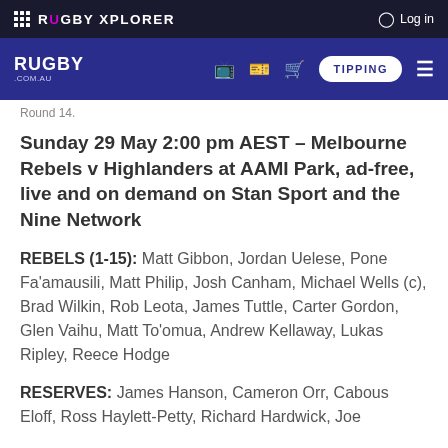RUGBY XPLORER | Log in
RUGBY .COM.AU | TIPPING
Round 14.
Sunday 29 May 2:00 pm AEST – Melbourne Rebels v Highlanders at AAMI Park, ad-free, live and on demand on Stan Sport and the Nine Network
REBELS (1-15): Matt Gibbon, Jordan Uelese, Pone Fa'amausili, Matt Philip, Josh Canham, Michael Wells (c), Brad Wilkin, Rob Leota, James Tuttle, Carter Gordon, Glen Vaihu, Matt To'omua, Andrew Kellaway, Lukas Ripley, Reece Hodge
RESERVES: James Hanson, Cameron Orr, Cabous Eloff, Ross Haylett-Petty, Richard Hardwick, Joe